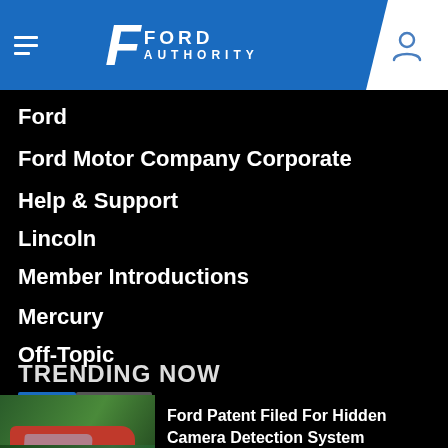Ford Authority
Ford
Ford Motor Company Corporate
Help & Support
Lincoln
Member Introductions
Mercury
Off-Topic
TRENDING NOW
Ford Patent Filed For Hidden Camera Detection System
2023 Ford Bronco Two Door Heritage Edition: